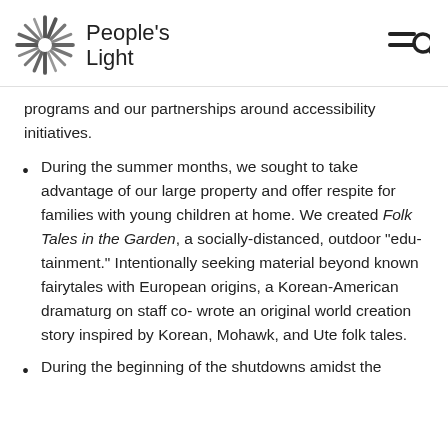People's Light
programs and our partnerships around accessibility initiatives.
During the summer months, we sought to take advantage of our large property and offer respite for families with young children at home. We created Folk Tales in the Garden, a socially-distanced, outdoor "edu-tainment." Intentionally seeking material beyond known fairytales with European origins, a Korean-American dramaturg on staff co-wrote an original world creation story inspired by Korean, Mohawk, and Uте folk tales.
During the beginning of the shutdowns amidst the